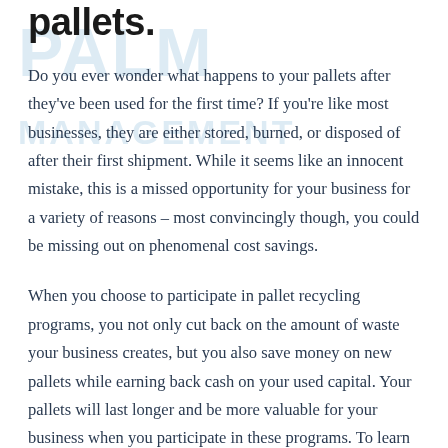pallets.
Do you ever wonder what happens to your pallets after they've been used for the first time? If you're like most businesses, they are either stored, burned, or disposed of after their first shipment. While it seems like an innocent mistake, this is a missed opportunity for your business for a variety of reasons – most convincingly though, you could be missing out on phenomenal cost savings.
When you choose to participate in pallet recycling programs, you not only cut back on the amount of waste your business creates, but you also save money on new pallets while earning back cash on your used capital. Your pallets will last longer and be more valuable for your business when you participate in these programs. To learn more about